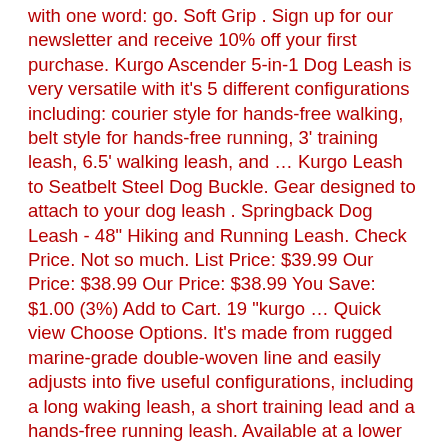with one word: go. Soft Grip . Sign up for our newsletter and receive 10% off your first purchase. Kurgo Ascender 5-in-1 Dog Leash is very versatile with it's 5 different configurations including: courier style for hands-free walking, belt style for hands-free running, 3' training leash, 6.5' walking leash, and … Kurgo Leash to Seatbelt Steel Dog Buckle. Gear designed to attach to your dog leash . Springback Dog Leash - 48" Hiking and Running Leash. Check Price. Not so much. List Price: $39.99 Our Price: $38.99 Our Price: $38.99 You Save: $1.00 (3%) Add to Cart. 19 "kurgo … Quick view Choose Options. It's made from rugged marine-grade double-woven line and easily adjusts into five useful configurations, including a long waking leash, a short training lead and a hands-free running leash. Available at a lower price from other sellers that may not offer free Prime shipping. Kurgo 6-in-1 Hands Free Quantum™ Dog Leash, Running Dog Leash, Adjustable Dog Waist Running Belt, Reflective Dog Leash for Walking, Running, Hiking, 6 Foot Leash, Grass Green Brand: Kurgo 4.2 out of 5 … Harnesses. FREE 1-3 day shipping over $49 … Kurgo Double Dog Leash Extender $16.76 $20.95 18. Kurgo Springback Lite(TM) Dog Leash… Quick view Add to Cart. Therefore, if you are searching for something reliable one